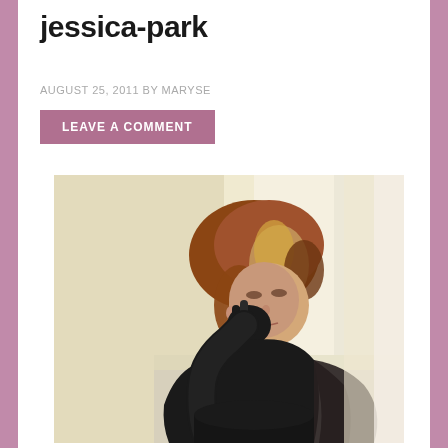jessica-park
AUGUST 25, 2011 BY MARYSE
LEAVE A COMMENT
[Figure (photo): A woman with reddish-brown and blonde hair wearing a black long-sleeve top and dark pants, sitting on a white couch/bed, resting her head on her hand, looking at the camera with a slight expression.]